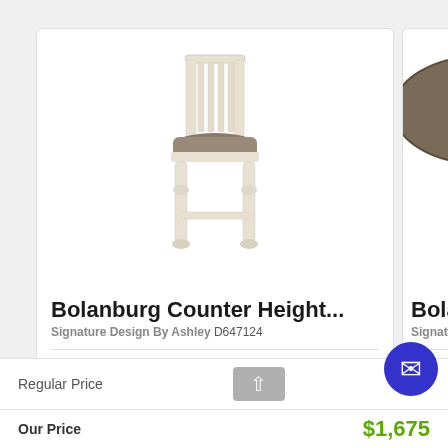[Figure (photo): Bolanburg counter height chair in antique white with upholstered seat]
Bolanburg Counter Height...
Signature Design By Ashley D647124
QTY: 6
[Figure (photo): Partial view of a round table top and furniture leg (Bolanburg)]
Bolanb...
Signature
QTY: 1
Regular Price
Our Price
$1,675